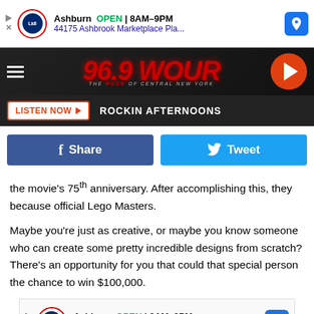[Figure (screenshot): Lidl advertisement banner: Ashburn OPEN 8AM-9PM, 44175 Ashbrook Marketplace Pla...]
[Figure (logo): 96.9 WOUR radio station header with logo, hamburger menu, and play button]
LISTEN NOW ▶  ROCKIN AFTERNOONS
[Figure (infographic): Facebook Share and Twitter Tweet social sharing buttons]
the movie's 75th anniversary. After accomplishing this, they because official Lego Masters.
Maybe you're just as creative, or maybe you know someone who can create some pretty incredible designs from scratch? There's an opportunity for you that could that special person the chance to win $100,000.
[Figure (screenshot): Lidl advertisement banner bottom: Ashburn OPEN 8AM-9PM, 44175 Ashbrook Marketplace Pla...]